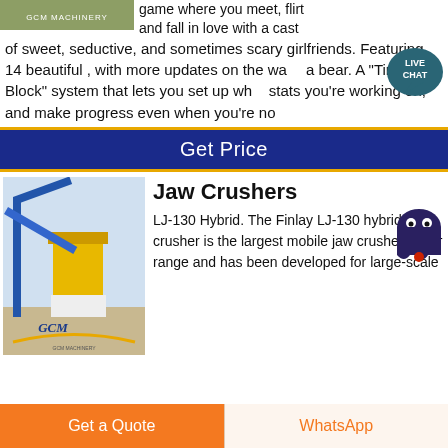[Figure (photo): GCM Machinery equipment photo at top left]
game where you meet, flirt and fall in love with a cast of sweet, seductive, and sometimes scary girlfriends. Featuring 14 beautiful , with more updates on the wa a bear. A "Time Block" system that lets you set up what stats you're working on, and make progress even when you're no
[Figure (other): Live Chat speech bubble icon in teal/dark blue]
Get Price
[Figure (photo): GCM jaw crusher industrial equipment on construction site]
Jaw Crushers
LJ-130 Hybrid. The Finlay LJ-130 hybrid mobile jaw crusher is the largest mobile jaw crusher in our range and has been developed for large-scale
[Figure (other): Ghost/alien emoji icon overlaid on text]
Get a Quote
WhatsApp